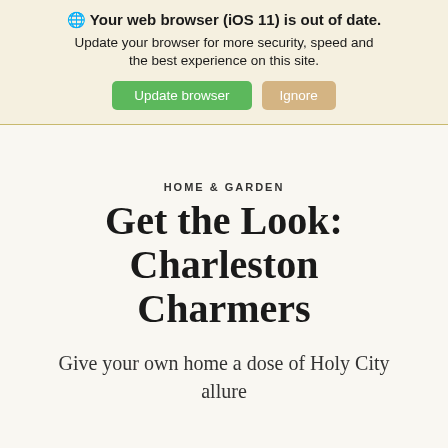🌐 Your web browser (iOS 11) is out of date. Update your browser for more security, speed and the best experience on this site. [Update browser] [Ignore]
HOME & GARDEN
Get the Look: Charleston Charmers
Give your own home a dose of Holy City allure